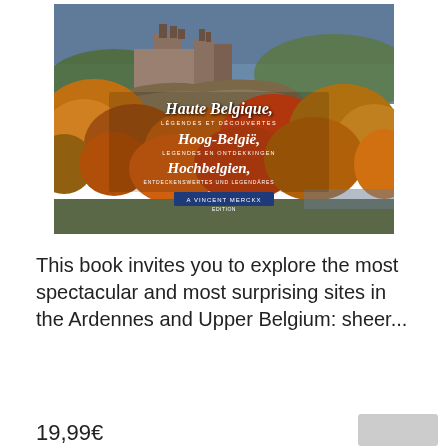[Figure (photo): Book cover showing a medieval castle on a rocky hillside surrounded by autumn-colored trees and a river in the background. The cover shows text in French, Dutch and German: 'Haute Belgique, légendes et découvertes', 'Hoog-België, legendes en ontdekkingen', 'Hochbelgien, entdeckenswertes und legendäres', published by Vincent Merckx Editions.]
This book invites you to explore the most spectacular and most surprising sites in the Ardennes and Upper Belgium: sheer...
19,99€